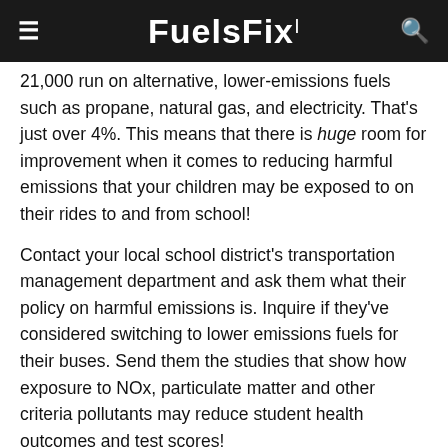FuelsFix
21,000 run on alternative, lower-emissions fuels such as propane, natural gas, and electricity. That's just over 4%. This means that there is huge room for improvement when it comes to reducing harmful emissions that your children may be exposed to on their rides to and from school!
Contact your local school district's transportation management department and ask them what their policy on harmful emissions is. Inquire if they've considered switching to lower emissions fuels for their buses. Send them the studies that show how exposure to NOx, particulate matter and other criteria pollutants may reduce student health outcomes and test scores!
English (language selector)
M...